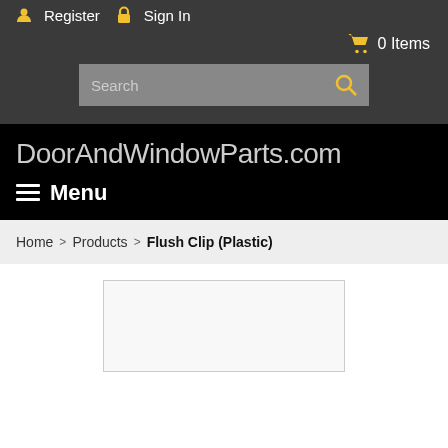Register  Sign In
0 Items
Search
DoorAndWindowParts.com
≡ Menu
Home > Products > Flush Clip (Plastic)
[Figure (photo): Product image area for Flush Clip (Plastic)]